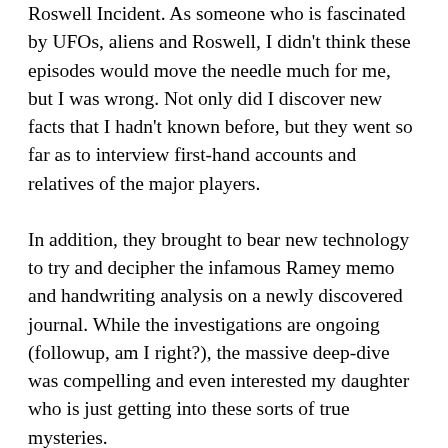Roswell Incident. As someone who is fascinated by UFOs, aliens and Roswell, I didn't think these episodes would move the needle much for me, but I was wrong. Not only did I discover new facts that I hadn't known before, but they went so far as to interview first-hand accounts and relatives of the major players.
In addition, they brought to bear new technology to try and decipher the infamous Ramey memo and handwriting analysis on a newly discovered journal. While the investigations are ongoing (followup, am I right?), the massive deep-dive was compelling and even interested my daughter who is just getting into these sorts of true mysteries.
Meanwhile in Season Two, the highlight episode for me was the one focusing on Houdini's lost diaries. Again, much like the earlier episodes, this program shed new light and brought new technology to the discussion. While the aim of the series doesn't reach a definitive conclusion, Houdini is not done.